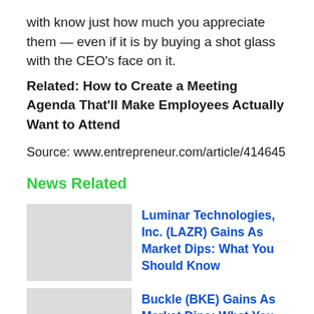with know just how much you appreciate them — even if it is by buying a shot glass with the CEO's face on it.
Related: How to Create a Meeting Agenda That'll Make Employees Actually Want to Attend
Source: www.entrepreneur.com/article/414645
News Related
Luminar Technologies, Inc. (LAZR) Gains As Market Dips: What You Should Know
Buckle (BKE) Gains As Market Dips: What You Should Know